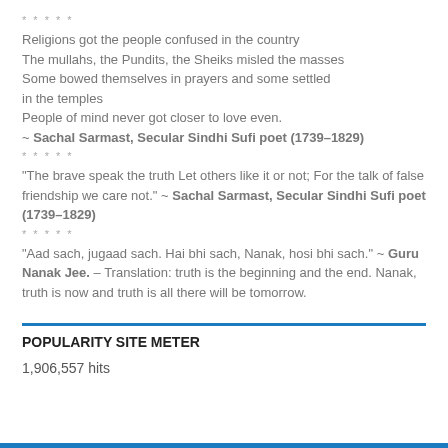*****
Religions got the people confused in the country
The mullahs, the Pundits, the Sheiks misled the masses
Some bowed themselves in prayers and some settled in the temples
People of mind never got closer to love even.
~ Sachal Sarmast, Secular Sindhi Sufi poet (1739–1829)
*****
“The brave speak the truth Let others like it or not; For the talk of false friendship we care not.” ~ Sachal Sarmast, Secular Sindhi Sufi poet (1739–1829)
*****
“Aad sach, jugaad sach. Hai bhi sach, Nanak, hosi bhi sach.” ~ Guru Nanak Jee. – Translation: truth is the beginning and the end. Nanak, truth is now and truth is all there will be tomorrow.
POPULARITY SITE METER
1,906,557 hits